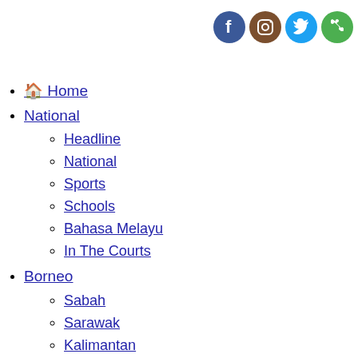[Figure (infographic): Social media icons: Facebook (blue circle with f), Instagram (brown circle with camera), Twitter (blue circle with bird), Phone/WhatsApp (green circle with phone)]
Home
National
Headline
National
Sports
Schools
Bahasa Melayu
In The Courts
Borneo
Sabah
Sarawak
Kalimantan
Southeast Asia
Malaysia
Thailand
Singapore
Vietnam
Indonesia
Philippines